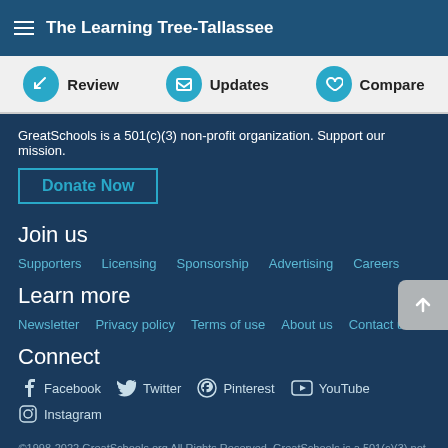The Learning Tree-Tallassee
Review | Updates | Compare
GreatSchools is a 501(c)(3) non-profit organization. Support our mission.
Donate Now
Join us
Supporters
Licensing
Sponsorship
Advertising
Careers
Learn more
Newsletter
Privacy policy
Terms of use
About us
Contact us
Connect
Facebook
Twitter
Pinterest
YouTube
Instagram
©1998-2022 GreatSchools.org All Rights Reserved. GreatSchools is a 501(c)(3) not-for-profit organization